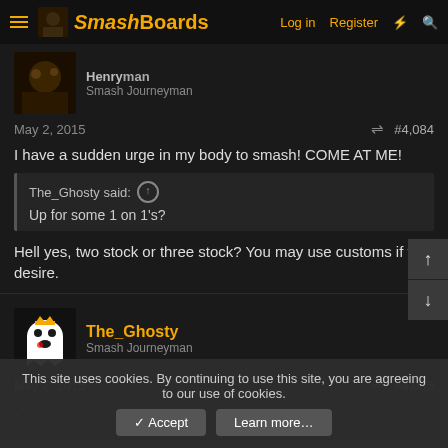SmashBoards  Log in  Register
Smash Journeyman
May 2, 2015  #4,084
I have a sudden urge in my body to smash! COME AT ME!
The_Ghosty said: ↑  Up for some 1 on 1's?
Hell yes, two stock or three stock? You may use customs if you desire.
The_Ghosty  Smash Journeyman
May 2, 2015  #4,085
.
This site uses cookies. By continuing to use this site, you are agreeing to our use of cookies.
✓ Accept  Learn more…